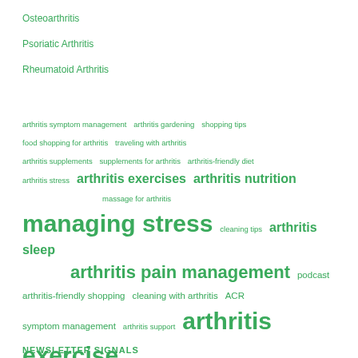Osteoarthritis
Psoriatic Arthritis
Rheumatoid Arthritis
[Figure (infographic): Word cloud of arthritis-related topics in green text, with varying font sizes indicating frequency/importance. Terms include: arthritis symptom management, arthritis gardening, shopping tips, food shopping for arthritis, traveling with arthritis, arthritis supplements, supplements for arthritis, arthritis-friendly diet, arthritis stress, arthritis exercises, arthritis nutrition, massage for arthritis, managing stress, cleaning tips, arthritis sleep, arthritis pain management, podcast, arthritis-friendly shopping, cleaning with arthritis, ACR, symptom management, arthritis support, arthritis exercise, arthritis weight loss, Live Yes! Podcast, arthritis-friendly cooking, RA, arthritis and the holidays, arthritis diet, natural arthritis pain relief, arthritis tips, easy gardening, exercise for arthritis, arthritis-friendly exercise, arthritis exercise motivation, natural arthritis therapies, anti-inflammatory diet, gardening, rheumatoid arthritis, arthritis life hacks, gardening tips for arthritis, pain management, arthritis diet foods, arthritis workouts, arthritis pain]
NEWSLETTER SIGNALS